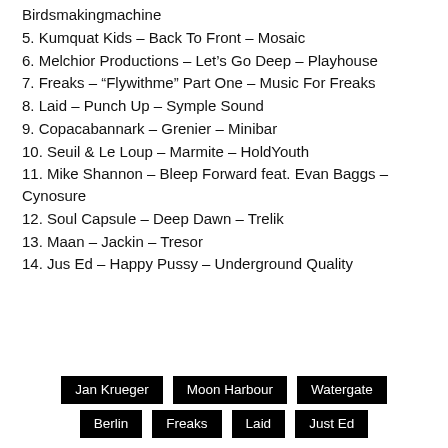Birdsmakingmachine
5. Kumquat Kids – Back To Front – Mosaic
6. Melchior Productions – Let's Go Deep – Playhouse
7. Freaks – "Flywithme" Part One – Music For Freaks
8. Laid – Punch Up – Symple Sound
9. Copacabannark – Grenier – Minibar
10. Seuil & Le Loup – Marmite – HoldYouth
11. Mike Shannon – Bleep Forward feat. Evan Baggs – Cynosure
12. Soul Capsule – Deep Dawn – Trelik
13. Maan – Jackin – Tresor
14. Jus Ed – Happy Pussy – Underground Quality
Jan Krueger | Moon Harbour | Watergate | Berlin | Freaks | Laid | Just Ed